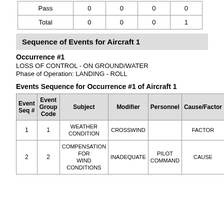|  |  |  |  |  |
| --- | --- | --- | --- | --- |
| Pass | 0 | 0 | 0 | 0 |
| Total | 0 | 0 | 0 | 1 |
Sequence of Events for Aircraft 1
Occurrence #1
LOSS OF CONTROL - ON GROUND/WATER
Phase of Operation: LANDING - ROLL
Events Sequence for Occurrence #1 of Aircraft 1
| Event Seq # | Event Group Code | Subject | Modifier | Personnel | Cause/Factor |
| --- | --- | --- | --- | --- | --- |
| 1 | 1 | WEATHER CONDITION | CROSSWIND |  | FACTOR |
| 2 | 2 | COMPENSATION FOR WIND CONDITIONS | INADEQUATE | PILOT COMMAND | CAUSE |